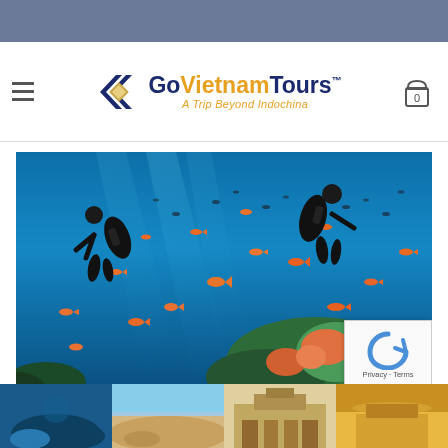[Figure (logo): GoVietnamTours logo with chevron and diamond icon, tagline: A Trip Beyond Indochina]
[Figure (photo): Underwater scuba diving scene with two divers, orange tropical fish, and coral reef in vivid blue ocean water]
[Figure (photo): Row of four thumbnail images at bottom of page showing Vietnam travel destinations]